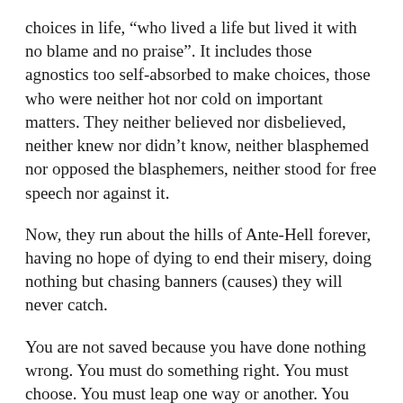choices in life, “who lived a life but lived it with no blame and no praise”. It includes those agnostics too self-absorbed to make choices, those who were neither hot nor cold on important matters. They neither believed nor disbelieved, neither knew nor didn’t know, neither blasphemed nor opposed the blasphemers, neither stood for free speech nor against it.
Now, they run about the hills of Ante-Hell forever, having no hope of dying to end their misery, doing nothing but chasing banners (causes) they will never catch.
You are not saved because you have done nothing wrong. You must do something right. You must choose. You must leap one way or another. You must commit.
The worst places in hell are reserved for those who, in times of great moral crisis, maintained their neutrality, who sat on the face and refused to take part. Are you one of those who will